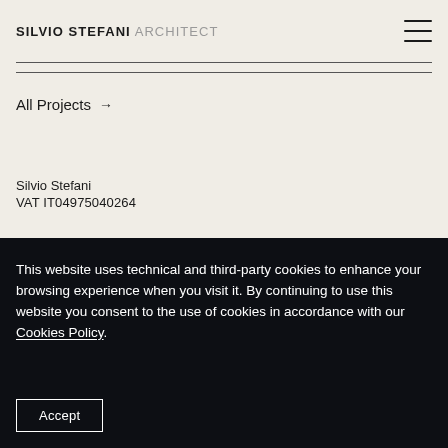SILVIO STEFANI ARCHITECT
All Projects →
Silvio Stefani
VAT IT04975040264
Projects
This website uses technical and third-party cookies to enhance your browsing experience when you visit it. By continuing to use this website you consent to the use of cookies in accordance with our Cookies Policy.
Accept